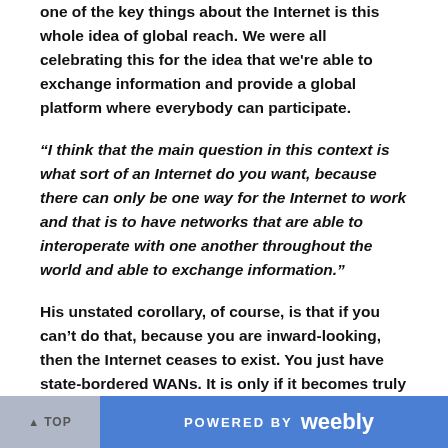one of the key things about the Internet is this whole idea of global reach. We were all celebrating this for the idea that we're able to exchange information and provide a global platform where everybody can participate.
“I think that the main question in this context is what sort of an Internet do you want, because there can only be one way for the Internet to work and that is to have networks that are able to interoperate with one another throughout the world and able to exchange information.”
His unstated corollary, of course, is that if you can’t do that, because you are inward-looking, then the Internet ceases to exist. You just have state-bordered WANs. It is only if it becomes truly global that the full power of data economics will then come into play. There is another discussion to be had on how many nations and major businesses would prefer to see state-bordered WANs
TOP   POWERED BY weebly